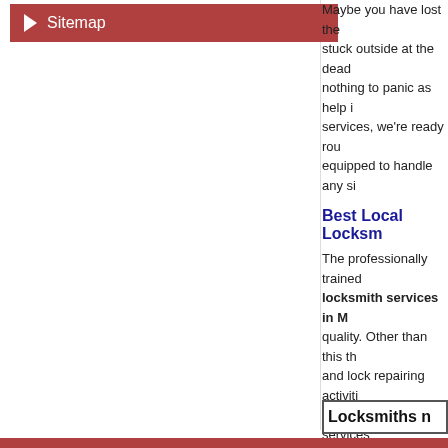Sitemap
Maybe you have lost the stuck outside at the dead nothing to panic as help i services, we're ready rou equipped to handle any si
Best Local Locksm
The professionally trained locksmith services in M quality. Other than this th and lock repairing activiti number of other services both our workers and the
Twenty four hour unlo
Automobile entrance
With all of these qualities case of emergencies.
Zip: 60153
Locksmiths n